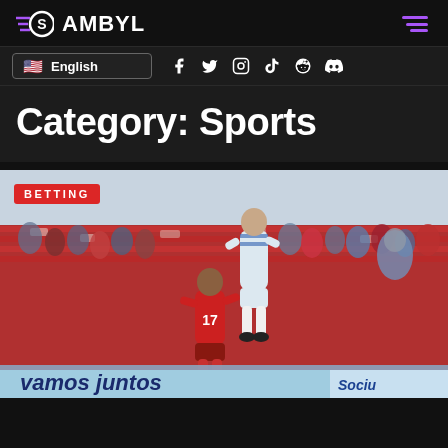GAMBYL
English
Category: Sports
[Figure (photo): Soccer players jumping for a header during a match, crowd visible in red seats in the background. A red-uniformed player (number 17) contests with a blue-and-white uniformed player leaping above. Stadium advertising board reads 'vamos juntos' at bottom.]
BETTING